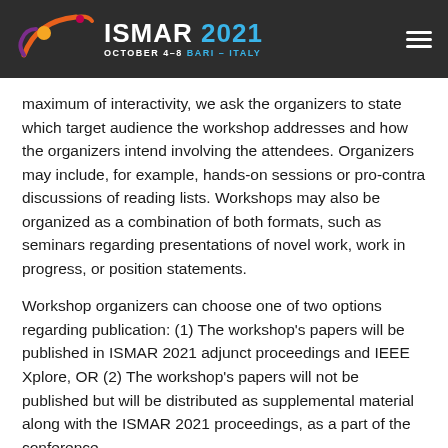ISMAR 2021 OCTOBER 4-8 BARI - ITALY
maximum of interactivity, we ask the organizers to state which target audience the workshop addresses and how the organizers intend involving the attendees. Organizers may include, for example, hands-on sessions or pro-contra discussions of reading lists. Workshops may also be organized as a combination of both formats, such as seminars regarding presentations of novel work, work in progress, or position statements.
Workshop organizers can choose one of two options regarding publication: (1) The workshop’s papers will be published in ISMAR 2021 adjunct proceedings and IEEE Xplore, OR (2) The workshop’s papers will not be published but will be distributed as supplemental material along with the ISMAR 2021 proceedings, as a part of the conference